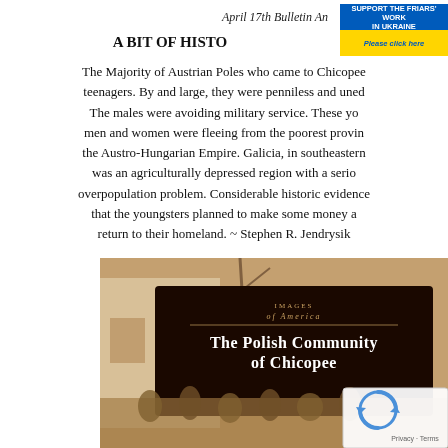April 17th Bulletin An...
A BIT OF HISTO...
The Majority of Austrian Poles who came to Chicopee... teenagers. By and large, they were penniless and uned... The males were avoiding military service. These yo... men and women were fleeing from the poorest provin... the Austro-Hungarian Empire. Galicia, in southeastern... was an agriculturally depressed region with a serio... overpopulation problem. Considerable historic evidence... that the youngsters planned to make some money a... return to their homeland. ~ Stephen R. Jendrysik...
[Figure (photo): Book cover of 'Images of America: The Polish Community of Chicopee' showing sepia-toned photograph of people in traditional Polish dress, with a reCAPTCHA overlay in the bottom right corner.]